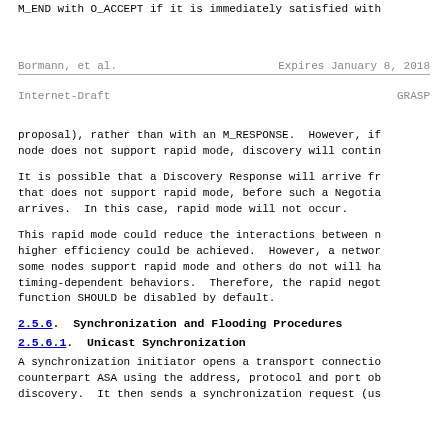M_END with O_ACCEPT if it is immediately satisfied with
Bormann, et al.             Expires January 8, 2018
Internet-Draft                              GRASP
proposal), rather than with an M_RESPONSE.  However, if node does not support rapid mode, discovery will contin
It is possible that a Discovery Response will arrive fr that does not support rapid mode, before such a Negotia arrives.  In this case, rapid mode will not occur.
This rapid mode could reduce the interactions between n higher efficiency could be achieved.  However, a networ some nodes support rapid mode and others do not will ha timing-dependent behaviors.  Therefore, the rapid negot function SHOULD be disabled by default.
2.5.6.  Synchronization and Flooding Procedures
2.5.6.1.  Unicast Synchronization
A synchronization initiator opens a transport connectio counterpart ASA using the address, protocol and port ob discovery.  It then sends a synchronization request (us